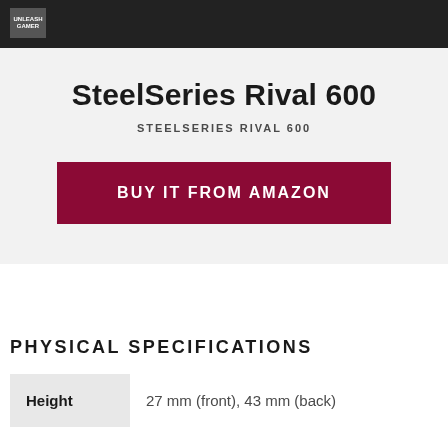[Figure (photo): Top portion of a product image showing a gaming mouse box with UNLEASH GAMER logo in upper left corner, dark background.]
SteelSeries Rival 600
STEELSERIES RIVAL 600
BUY IT FROM AMAZON
PHYSICAL SPECIFICATIONS
| Height |  |
| --- | --- |
| Height | 27 mm (front), 43 mm (back) |